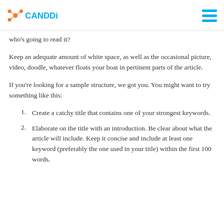CANDDi
who's going to read it?
Keep an adequate amount of white space, as well as the occasional picture, video, doodle, whatever floats your boat in pertinent parts of the article.
If you're looking for a sample structure, we got you. You might want to try something like this:
Create a catchy title that contains one of your strongest keywords.
Elaborate on the title with an introduction. Be clear about what the article will include. Keep it concise and include at least one keyword (preferably the one used in your title) within the first 100 words.